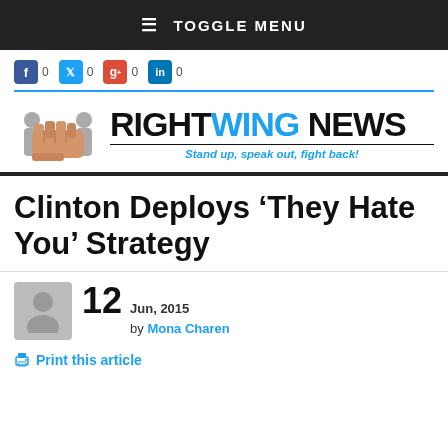≡ TOGGLE MENU
[Figure (logo): RightWing News logo with fist graphic and tagline 'Stand up, speak out, fight back!']
Clinton Deploys ‘They Hate You’ Strategy
12 Jun, 2015 by Mona Charen
Print this article